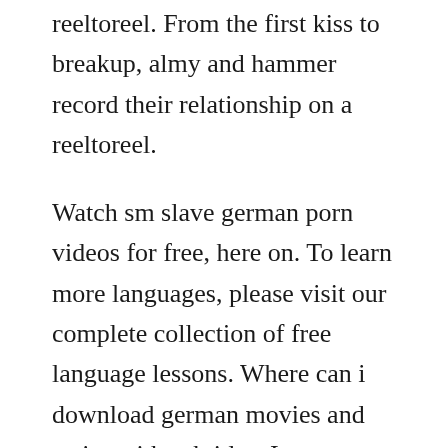reeltoreel. From the first kiss to breakup, almy and hammer record their relationship on a reeltoreel.
Watch sm slave german porn videos for free, here on. To learn more languages, please visit our complete collection of free language lessons. Where can i download german movies and series with subtitles. I am downloading dailymotion video online without any software on. Mark zuckerberg time person of the year facebook movie. German translation of madam collins